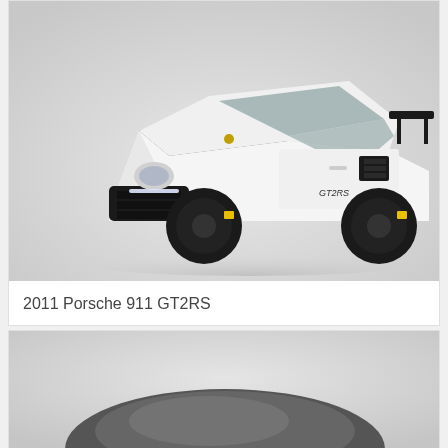[Figure (photo): White 2011 Porsche 911 GT2RS sports car with black hood and black wheels, photographed in a studio on a light grey background, front three-quarter view]
2011 Porsche 911 GT2RS
[Figure (photo): Partial view of another car, mostly cropped, showing only the top portion of a dark/grey vehicle on a light grey studio background]